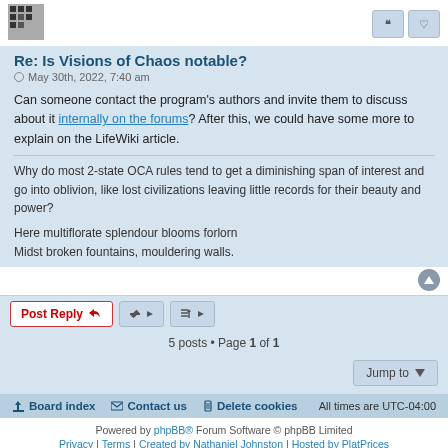Re: Is Visions of Chaos notable?
May 30th, 2022, 7:40 am
Can someone contact the program's authors and invite them to discuss about it internally on the forums? After this, we could have some more to explain on the LifeWiki article.
Why do most 2-state OCA rules tend to get a diminishing span of interest and go into oblivion, like lost civilizations leaving little records for their beauty and power?

Here multiflorate splendour blooms forlorn
Midst broken fountains, mouldering walls.
5 posts • Page 1 of 1
Board index | Contact us | Delete cookies | All times are UTC-04:00
Powered by phpBB® Forum Software © phpBB Limited
Privacy | Terms | Created by Nathaniel Johnston | Hosted by PlatPrices